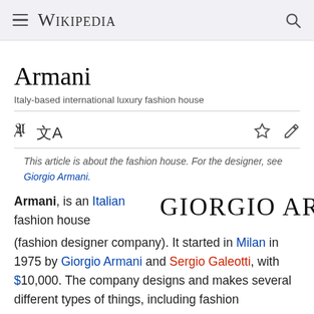Wikipedia
Armani
Italy-based international luxury fashion house
This article is about the fashion house. For the designer, see Giorgio Armani.
[Figure (logo): Giorgio Armani logo in serif font]
Armani, is an Italian fashion house (fashion designer company). It started in Milan in 1975 by Giorgio Armani and Sergio Galeotti, with $10,000. The company designs and makes several different types of things, including fashion accessories, clothing, cosmetics, fragrances, home decorations, jewelry, glasses, and watches.